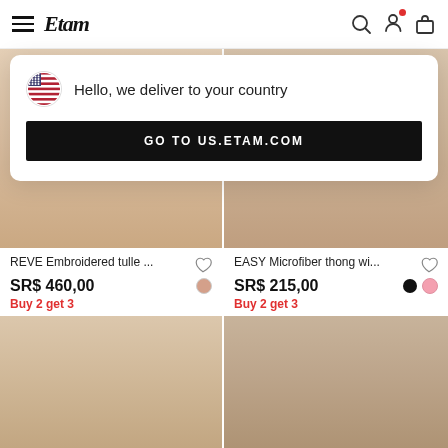Etam
Hello, we deliver to your country
GO TO US.ETAM.COM
[Figure (photo): Back view of model wearing beige/nude embroidered tulle thong]
[Figure (photo): Back view of model wearing black microfiber thong]
REVE Embroidered tulle ...
SR$ 460,00
Buy 2 get 3
EASY Microfiber thong wi...
SR$ 215,00
Buy 2 get 3
[Figure (photo): Front view of model wearing nude/beige bikini bottom]
[Figure (photo): Front view of model wearing black lace bikini bottom]